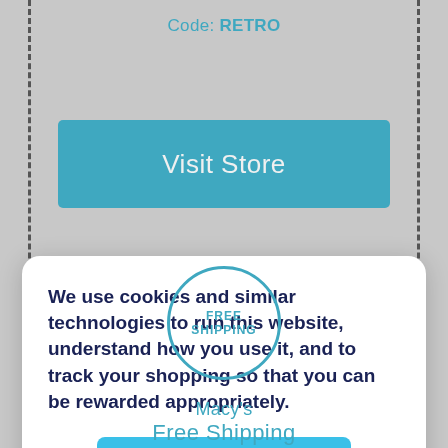Code: RETRO
Visit Store
We use cookies and similar technologies to run this website, understand how you use it, and to track your shopping so that you can be rewarded appropriately.
Accept
[Figure (illustration): Free Shipping circular badge/seal with teal border and text]
Macy's
Free Shipping